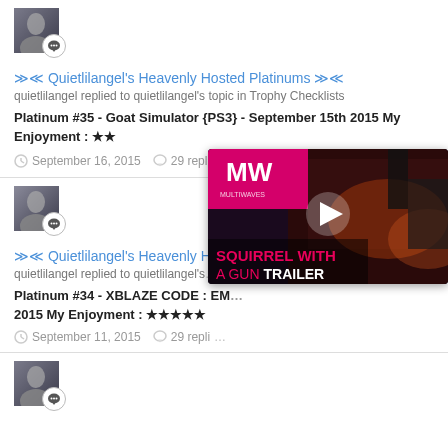[Figure (photo): User avatar thumbnail with chat bubble badge icon]
≫≪ Quietlilangel's Heavenly Hosted Platinums ≫≪
quietlilangel replied to quietlilangel's topic in Trophy Checklists
Platinum #35 - Goat Simulator {PS3} - September 15th 2015 My Enjoyment : ★★
September 16, 2015   29 replies   +2
[Figure (photo): User avatar thumbnail with chat bubble badge icon]
≫≪ Quietlilangel's Heavenly Hos…
quietlilangel replied to quietlilangel's…
Platinum #34 - XBLAZE CODE : EM… 2015 My Enjoyment : ★★★★★
September 11, 2015   29 repli…
[Figure (screenshot): Video ad overlay for 'Squirrel With A Gun Trailer' from MW channel with play button and close X button]
[Figure (photo): Third user avatar thumbnail with chat bubble badge icon]